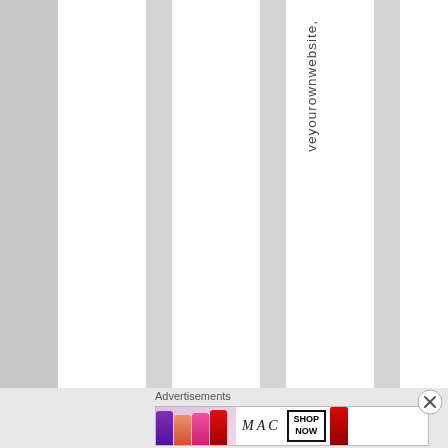[Figure (illustration): Gray and white vertical stripes background pattern covering upper portion of page]
veyourownwebsite,
Advertisements
[Figure (photo): MAC Cosmetics advertisement banner showing colorful lipsticks (purple, peach, pink, red) on left, MAC logo in center, and SHOP NOW button on right]